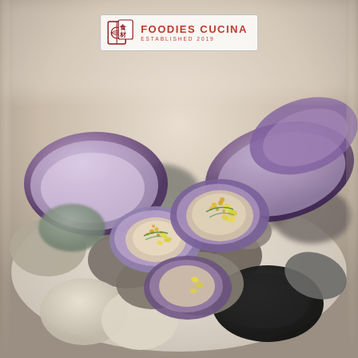[Figure (photo): A gourmet food photograph showing open clam or surf clam shells with raw seafood garnished with yellow flowers, green chives, and golden roe/seeds, arranged on a bed of smooth river stones in various colors (grey, beige, black, white) on a white plate. The image has a soft, slightly blurred background with creamy tones.]
[Figure (logo): Foodies Cucina logo in the upper center: a square icon with a globe and Chinese characters in red/dark red, beside the text 'FOODIES CUCINA' in bold red capitals and 'ESTABLISHED 2019' in smaller red capitals beneath.]